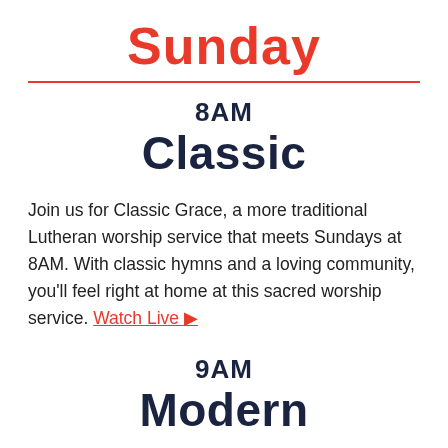Sunday
8AM
Classic
Join us for Classic Grace, a more traditional Lutheran worship service that meets Sundays at 8AM. With classic hymns and a loving community, you'll feel right at home at this sacred worship service. Watch Live ▶
9AM
Modern